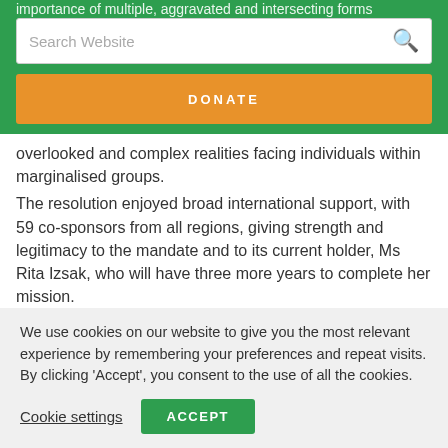importance of multiple, aggravated and intersecting forms
overlooked and complex realities facing individuals within marginalised groups.
The resolution enjoyed broad international support, with 59 co-sponsors from all regions, giving strength and legitimacy to the mandate and to its current holder, Ms Rita Izsak, who will have three more years to complete her mission.
This positive move for the promotion and protection of minority rights worldwide came at the end of four weeks of
We use cookies on our website to give you the most relevant experience by remembering your preferences and repeat visits. By clicking 'Accept', you consent to the use of all the cookies.
Cookie settings
ACCEPT